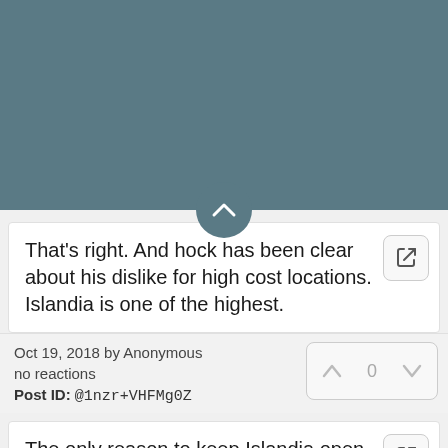That's right. And hock has been clear about his dislike for high cost locations. Islandia is one of the highest.
Oct 19, 2018 by Anonymous
no reactions
Post ID: @1nzr+VHFMg0Z
The only reason to keep Islandia open is if the cost to exit the lease is more than the savings gained by moving the office to a smaller and cheaper location. Broadcom has no ties to Long Island or Islandia, it is purely a financial equation,